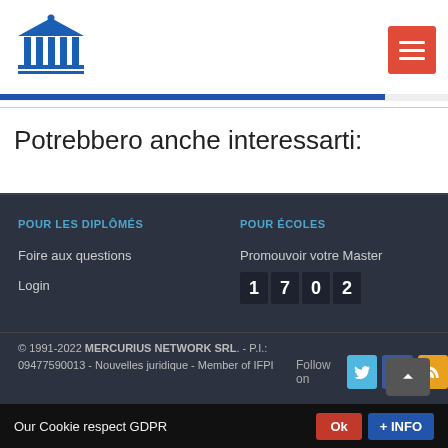[Figure (logo): Institution logo with pillared building (bank/education icon) in blue]
[Figure (other): Red hamburger menu button with three white lines]
Potrebbero anche interessarti:
POUR LES DIPLÔMÉS
Foire aux questions
Login
POUR ÉCOLES
Promouvoir votre Master
1702
© 1991-2022 MERCURIUS NETWORK SRL. - P.I.: 09477590013 - Nouvelles juridique - Member of IFPI
Follow on
Our Cookie respect GDPR
Ok
+ INFO